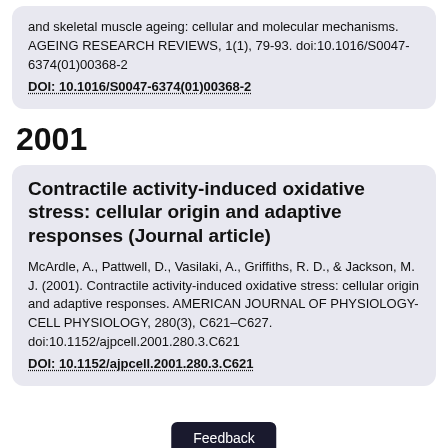and skeletal muscle ageing: cellular and molecular mechanisms. AGEING RESEARCH REVIEWS, 1(1), 79-93. doi:10.1016/S0047-6374(01)00368-2
DOI: 10.1016/S0047-6374(01)00368-2
2001
Contractile activity-induced oxidative stress: cellular origin and adaptive responses (Journal article)
McArdle, A., Pattwell, D., Vasilaki, A., Griffiths, R. D., & Jackson, M. J. (2001). Contractile activity-induced oxidative stress: cellular origin and adaptive responses. AMERICAN JOURNAL OF PHYSIOLOGY-CELL PHYSIOLOGY, 280(3), C621-C627. doi:10.1152/ajpcell.2001.280.3.C621
DOI: 10.1152/ajpcell.2001.280.3.C621